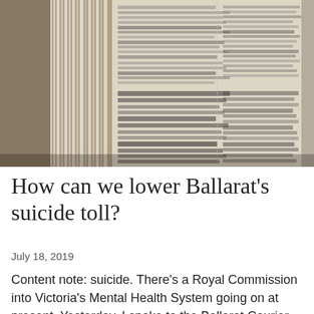[Figure (photo): A stack of newspapers viewed from the side, showing paper edges and printed text visible on some pages. Black and white newspaper text is partially readable, showing German and English text fragments. The image is slightly blurred.]
How can we lower Ballarat's suicide toll?
July 18, 2019
Content note: suicide. There's a Royal Commission into Victoria's Mental Health System going on at present. Yesterday, I spoke to the Ballarat Courier about statistics that show high rates of